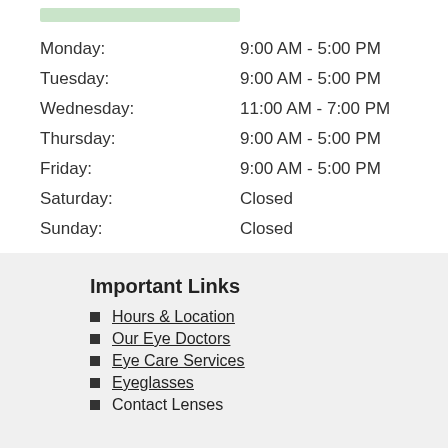| Day | Hours |
| --- | --- |
| Monday: | 9:00 AM - 5:00 PM |
| Tuesday: | 9:00 AM - 5:00 PM |
| Wednesday: | 11:00 AM - 7:00 PM |
| Thursday: | 9:00 AM - 5:00 PM |
| Friday: | 9:00 AM - 5:00 PM |
| Saturday: | Closed |
| Sunday: | Closed |
Important Links
Hours & Location
Our Eye Doctors
Eye Care Services
Eyeglasses
Contact Lenses